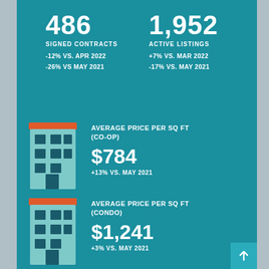486 SIGNED CONTRACTS
-12% VS. APR 2022
-26% VS MAY 2021
1,952 ACTIVE LISTINGS
+7% VS. MAR 2022
-17% VS. MAY 2021
[Figure (illustration): Flat illustration of a teal apartment building with orange roof and dark windows (co-op)]
AVERAGE PRICE PER SQ FT (CO-OP)
$784
+13% VS. MAY 2021
[Figure (illustration): Flat illustration of a teal apartment building with orange roof and dark windows (condo)]
AVERAGE PRICE PER SQ FT (CONDO)
$1,241
+3% VS. MAY 2021